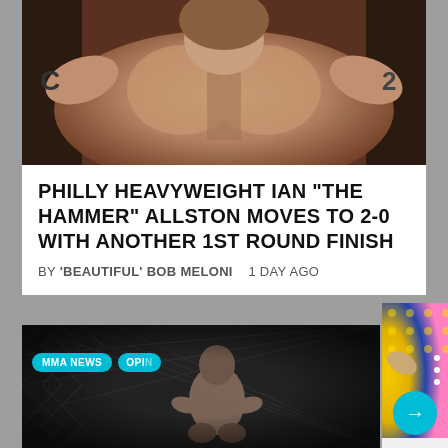[Figure (photo): Close-up photo of a shirtless male MMA fighter raising his arms, showing chest and beard, on a dark background]
PHILLY HEAVYWEIGHT IAN “THE HAMMER” ALLSTON MOVES TO 2-0 WITH ANOTHER 1ST ROUND FINISH
BY 'BEAUTIFUL' BOB MELONI   1 DAY AGO
[Figure (photo): MMA fighter from behind inside an octagon cage, dark background, with MMA NEWS and OPIN category badges overlaid]
[Figure (photo): Karate Combat 35 Aftermath promotional image with yellow and blue dot pattern background, fighter celebrating, and cyan arrow button]